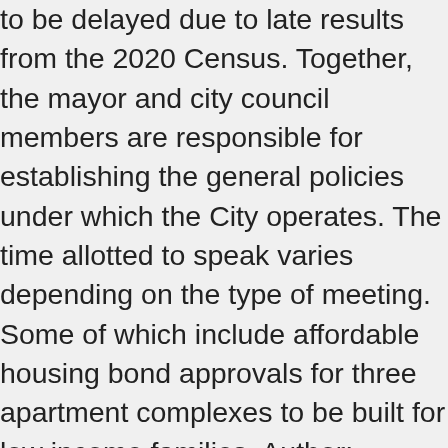to be delayed due to late results from the 2020 Census. Together, the mayor and city council members are responsible for establishing the general policies under which the City operates. The time allotted to speak varies depending on the type of meeting. Some of which include affordable housing bond approvals for three apartment complexes to be built for low income families. Author: wcnc.com George Dunlap Chair Mecklenburg County Board of Commissioners. This form of government divides responsibilities between elected officials and an appointed city manager. Victoria Watlington serves as a member of the Charlotte City Council, representing District 3. The Charlotte Business INCIusion (CBI) Advisory Committee was established January 9, 2017 by City Council action to support and provide input on the work of Charlotte Business INCIusion. The Council is made up of eleven members and the Mayor, all elected to two-year terms in odd-numbered years.Four Council Members are elected at-large with the other seven representing districts. Together the Mayor and City Council are responsible for establishing the general policies under which the